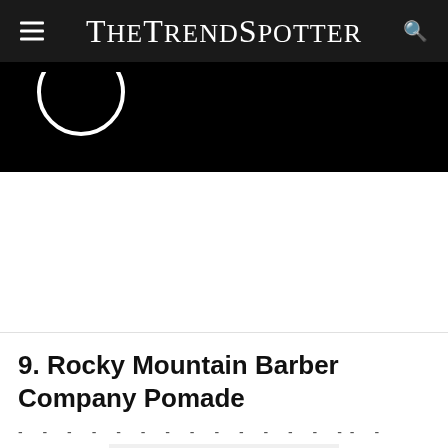TheTrendSpotter
[Figure (logo): Partial circular logo/icon visible in white against black background]
9. Rocky Mountain Barber Company Pomade
[Figure (photo): Image placeholder / partially loaded product image]